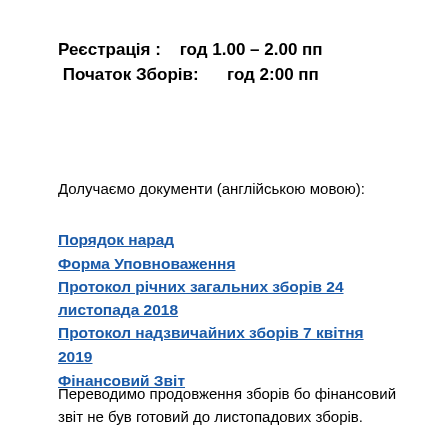Реєстрація :    год 1.00 – 2.00 пп
Початок Зборів:       год 2:00 пп
Долучаємо документи (англійською мовою):
Порядок нарад
Форма Уповноваження
Протокол річних загальних зборів 24 листопада 2018
Протокол надзвичайних зборів 7 квітня 2019
Фінансовий Звіт
Переводимо продовження зборів бо фінансовий звіт не був готовий до листопадових зборів.